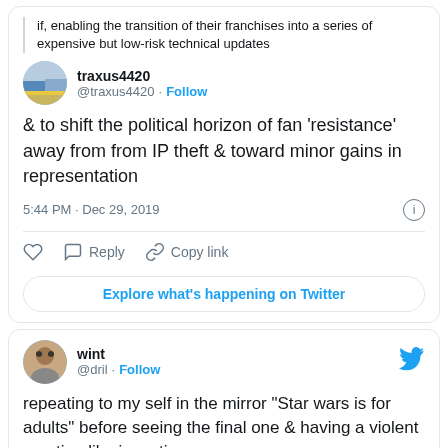if, enabling the transition of their franchises into a series of expensive but low-risk technical updates
traxus4420 @traxus4420 · Follow
& to shift the political horizon of fan 'resistance' away from from IP theft & toward minor gains in representation
5:44 PM · Dec 29, 2019
Reply  Copy link
Explore what's happening on Twitter
wint @dril · Follow
repeating to my self in the mirror "Star wars is for adults" before seeing the final one & having a violent reaction like ingesting a poison